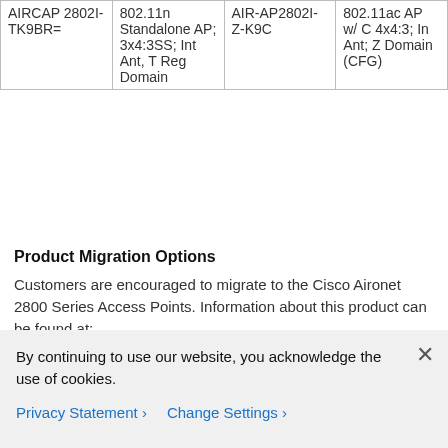|  |  |  |  |
| --- | --- | --- | --- |
| AIRCAP 2802I-TK9BR= | 802.11n Standalone AP; 3x4:3SS; Int Ant, T Reg Domain | AIR-AP2802I-Z-K9C | 802.11ac AP w/ C 4x4:3; In Ant; Z Domain (CFG) |
Product Migration Options
Customers are encouraged to migrate to the Cisco Aironet 2800 Series Access Points. Information about this product can be found at: http://www.cisco.com/c/en/us/products/wireless/aironet-2800-series-access-points/index.html.
Customers may be able to use the Cisco Technology Migration Program (TMP) where applicable to trade-in eligible products and receive credit toward the purchase of new Cisco equipment. For more information about Cisco TMP, customers should work with their Cisco Partner or Cisco account team. Cisco Partners can find additional TMP information on Partner Central at
By continuing to use our website, you acknowledge the use of cookies.
Privacy Statement > Change Settings >